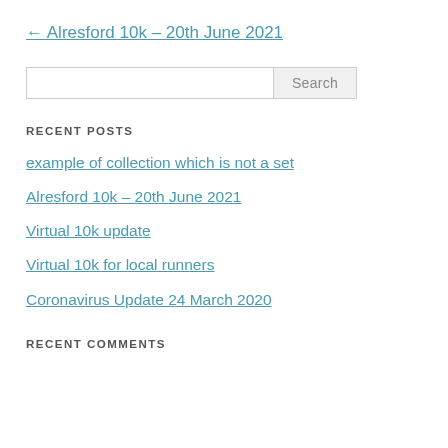← Alresford 10k – 20th June 2021
Search
RECENT POSTS
example of collection which is not a set
Alresford 10k – 20th June 2021
Virtual 10k update
Virtual 10k for local runners
Coronavirus Update 24 March 2020
RECENT COMMENTS